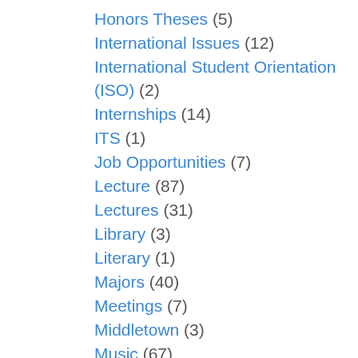Honors Theses (5)
International Issues (12)
International Student Orientation (ISO) (2)
Internships (14)
ITS (1)
Job Opportunities (7)
Lecture (87)
Lectures (31)
Library (3)
Literary (1)
Majors (40)
Meetings (7)
Middletown (3)
Music (67)